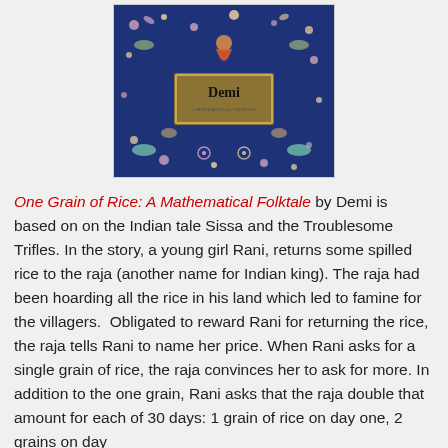[Figure (illustration): Book cover of 'One Grain of Rice: A Mathematical Folktale' by Demi. Dark blue background with decorative Indian-style motifs, animals, and flowers. Center has a brown/gold rectangle with 'Demi' written in bold and a subtitle.]
One Grain of Rice: A Mathematical Folktale by Demi is based on on the Indian tale Sissa and the Troublesome Trifles. In the story, a young girl Rani, returns some spilled rice to the raja (another name for Indian king). The raja had been hoarding all the rice in his land which led to famine for the villagers. Obligated to reward Rani for returning the rice, the raja tells Rani to name her price. When Rani asks for a single grain of rice, the raja convinces her to ask for more. In addition to the one grain, Rani asks that the raja double that amount for each of 30 days: 1 grain of rice on day one, 2 grains on day two, 4 on the three, 8 on four, and so on. The